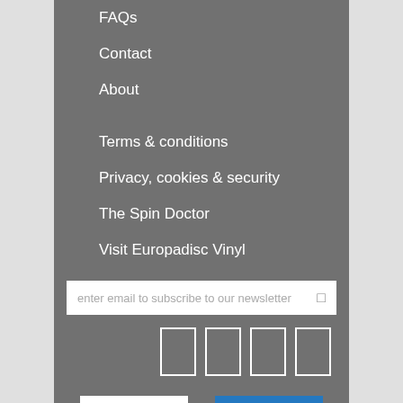FAQs
Contact
About
Terms & conditions
Privacy, cookies & security
The Spin Doctor
Visit Europadisc Vinyl
enter email to subscribe to our newsletter
[Figure (other): Social media icon placeholders — four outlined rectangle icon boxes]
[Figure (logo): Visa payment logo — white background with blue italic VISA text and gold V]
[Figure (logo): American Express payment logo — blue background with white AMERICAN EXPRESS text]